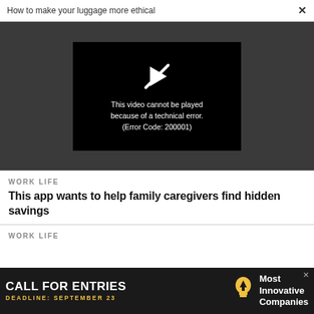How to make your luggage more ethical
[Figure (screenshot): Video player showing error message: This video cannot be played because of a technical error. (Error Code: 200001)]
WORK LIFE
This app wants to help family caregivers find hidden savings
WORK LIFE
[Figure (infographic): Advertisement banner: CALL FOR ENTRIES, DEADLINE: SEPTEMBER 23, Most Innovative Companies]